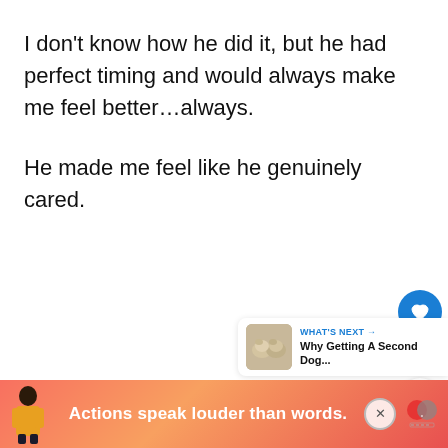I don't know how he did it, but he had perfect timing and would always make me feel better…always.
He made me feel like he genuinely cared.
[Figure (screenshot): Social media UI sidebar with heart/like button (blue circle with heart icon), like count '70', and share button (white circle with share icon)]
[Figure (screenshot): Thumbnail preview widget: 'WHAT'S NEXT → Why Getting A Second Dog...' with a small dog photo]
[Figure (screenshot): Advertisement banner at bottom: person in yellow jacket, text 'Actions speak louder than words.' with close button and Mastercard-style logo]